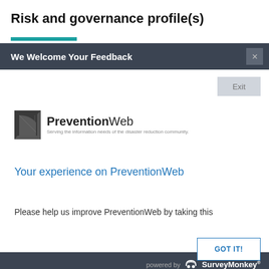Risk and governance profile(s)
[Figure (screenshot): A modal dialog overlay on a webpage. The modal has a dark header bar reading 'We Welcome Your Feedback' with a close X button. Inside the modal is a white area with an Exit button, the PreventionWeb logo (dark triangular icon, bold 'Prevention' and regular 'Web' text, tagline 'Serving the information needs of the disaster reduction community.'), a blue link heading 'Your experience on PreventionWeb', and partial text 'Please help us improve PreventionWeb by taking this'. The modal footer is dark with 'powered by SurveyMonkey' text. Below the modal is a blue background area with a 'GOT IT!' button.]